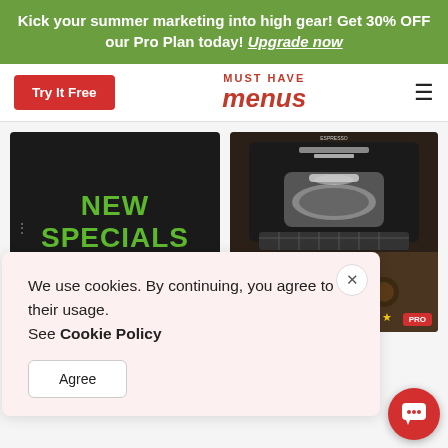Kick your summer marketing into high gear! Get 30% OFF our Pro Plan today! Upgrade now
[Figure (screenshot): Navigation bar with 'Try It Free' red button, 'MUST HAVE menus' logo in red, and hamburger menu icon]
[Figure (photo): Dark chalkboard sign with green text reading 'NEW SPECIALS' with chicken string bean menu item below]
[Figure (photo): Close-up photo of an espresso machine portafilter]
We use cookies. By continuing, you agree to their usage. See Cookie Policy
Agree